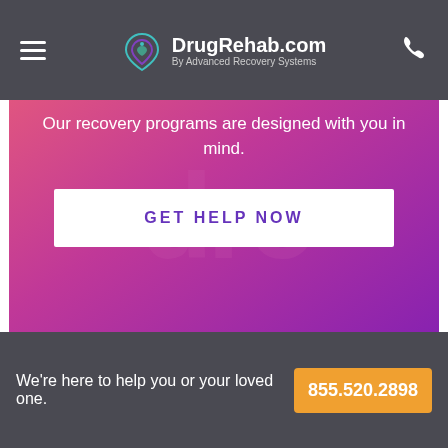DrugRehab.com by Advanced Recovery Systems
[Figure (screenshot): Website hero section with gradient pink-to-purple background, watermark letters, tagline text and GET HELP NOW button]
Our recovery programs are designed with you in mind.
GET HELP NOW
We're here to help you or your loved one. 855.520.2898